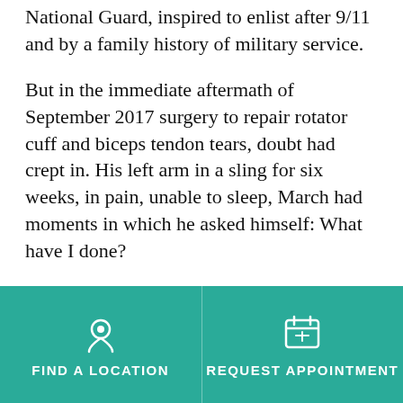National Guard, inspired to enlist after 9/11 and by a family history of military service.
But in the immediate aftermath of September 2017 surgery to repair rotator cuff and biceps tendon tears, doubt had crept in. His left arm in a sling for six weeks, in pain, unable to sleep, March had moments in which he asked himself: What have I done?
“The first few weeks were mentally as challenging as physically,” said March, whose full-time job is owner of emPower Training Systems, a gym near Lancaster, Pa.
It was during that low period when he relied on Drayer Physical Therapy Institute, specifically
FIND A LOCATION   REQUEST APPOINTMENT